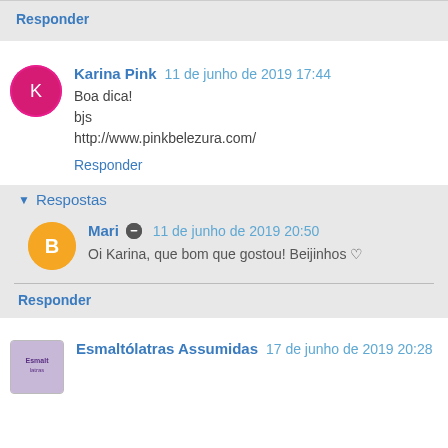Responder
Karina Pink  11 de junho de 2019 17:44
Boa dica!
bjs
http://www.pinkbelezura.com/
Responder
Respostas
Mari  11 de junho de 2019 20:50
Oi Karina, que bom que gostou! Beijinhos ♡
Responder
Esmaltólatras Assumidas  17 de junho de 2019 20:28